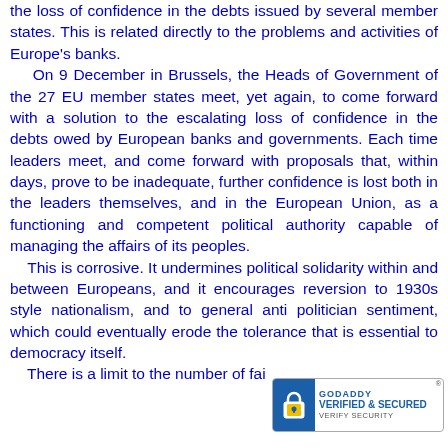the loss of confidence in the debts issued by several member states. This is related directly to the problems and activities of Europe's banks. On 9 December in Brussels, the Heads of Government of the 27 EU member states meet, yet again, to come forward with a solution to the escalating loss of confidence in the debts owed by European banks and governments. Each time leaders meet, and come forward with proposals that, within days, prove to be inadequate, further confidence is lost both in the leaders themselves, and in the European Union, as a functioning and competent political authority capable of managing the affairs of its peoples. This is corrosive. It undermines political solidarity within and between Europeans, and it encourages reversion to 1930s style nationalism, and to general anti politician sentiment, which could eventually erode the tolerance that is essential to democracy itself. There is a limit to the number of fai...
[Figure (logo): GoDaddy Verified & Secured security badge with padlock icon]